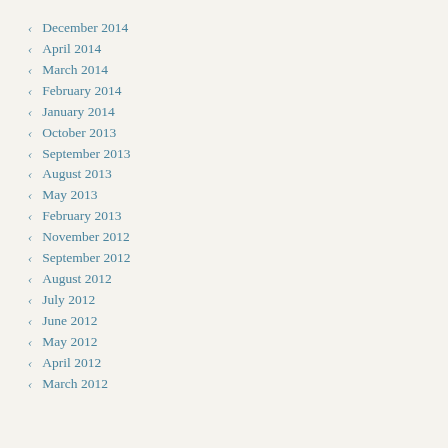December 2014
April 2014
March 2014
February 2014
January 2014
October 2013
September 2013
August 2013
May 2013
February 2013
November 2012
September 2012
August 2012
July 2012
June 2012
May 2012
April 2012
March 2012